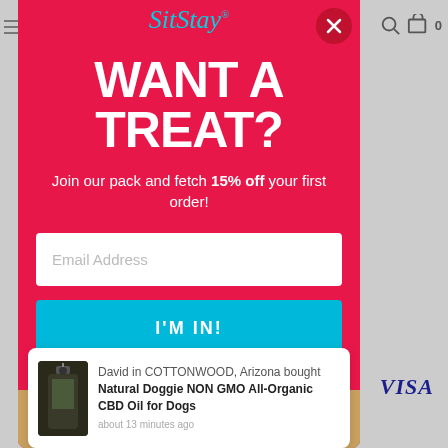[Figure (screenshot): SitStay website popup modal on a gray background with navigation icons (hamburger menu, search, cart with '0') visible. The modal has a pink/red background with a teal close button (X).]
WANT A TREAT?
Join our pack and fetch 15% off your first order!
Email Address (input field placeholder)
I'M IN! (button)
I'm not interested.
David in COTTONWOOD, Arizona bought Natural Doggie NON GMO All-Organic CBD Oil for Dogs about 13 minutes ago